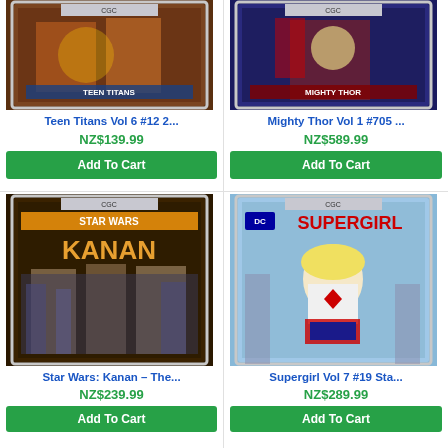[Figure (photo): Teen Titans Vol 6 #12 comic book cover in CGC slab, showing action scene with warm tones]
Teen Titans Vol 6 #12 2...
NZ$139.99
Add To Cart
[Figure (photo): Mighty Thor Vol 1 #705 comic book cover in CGC slab, showing Thor character with red cape]
Mighty Thor Vol 1 #705 ...
NZ$589.99
Add To Cart
[Figure (photo): Star Wars Kanan comic book cover in CGC slab, showing armored warriors with Star Wars branding]
Star Wars: Kanan – The...
NZ$239.99
Add To Cart
[Figure (photo): Supergirl Vol 7 #19 comic book cover in CGC slab, Supergirl with blonde hair in white outfit]
Supergirl Vol 7 #19 Sta...
NZ$289.99
Add To Cart